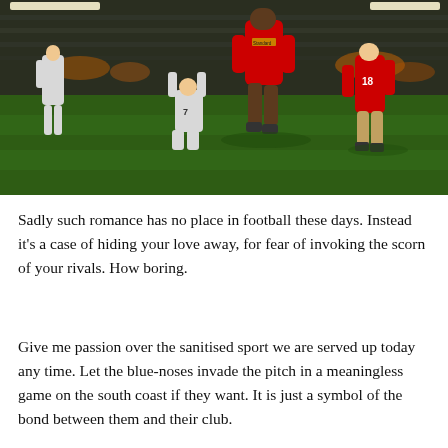[Figure (photo): Football match action photo showing Liverpool players in red celebrating a goal, with West Brom players in white and black stripes reacting in dejection on the pitch at night under floodlights.]
Sadly such romance has no place in football these days. Instead it's a case of hiding your love away, for fear of invoking the scorn of your rivals. How boring.
Give me passion over the sanitised sport we are served up today any time. Let the blue-noses invade the pitch in a meaningless game on the south coast if they want. It is just a symbol of the bond between them and their club.